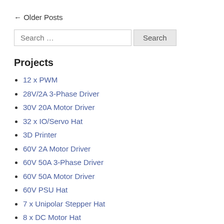← Older Posts
Search …
Projects
12 x PWM
28V/2A 3-Phase Driver
30V 20A Motor Driver
32 x IO/Servo Hat
3D Printer
60V 2A Motor Driver
60V 50A 3-Phase Driver
60V 50A Motor Driver
60V PSU Hat
7 x Unipolar Stepper Hat
8 x DC Motor Hat
Abstraction Layer
Analogue Hat